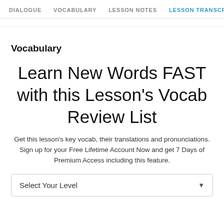DIALOGUE  VOCABULARY  LESSON NOTES  LESSON TRANSCRIPT  C
Vocabulary
Learn New Words FAST with this Lesson's Vocab Review List
Get this lesson's key vocab, their translations and pronunciations. Sign up for your Free Lifetime Account Now and get 7 Days of Premium Access including this feature.
Select Your Level